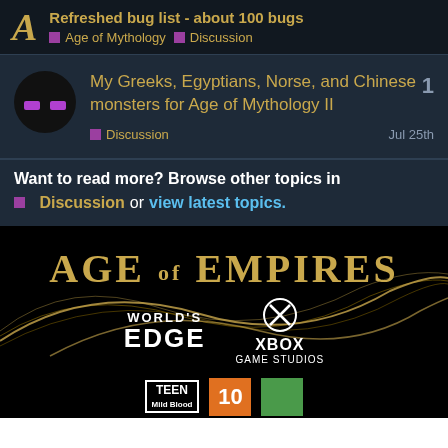Refreshed bug list - about 100 bugs | Age of Mythology | Discussion
My Greeks, Egyptians, Norse, and Chinese monsters for Age of Mythology II
Discussion | Jul 25th | 1 reply
Want to read more? Browse other topics in Discussion or view latest topics.
[Figure (logo): Age of Empires logo with World's Edge and Xbox Game Studios branding on black background with golden swirl design]
TEEN Mild Blood | 10 | rating badge